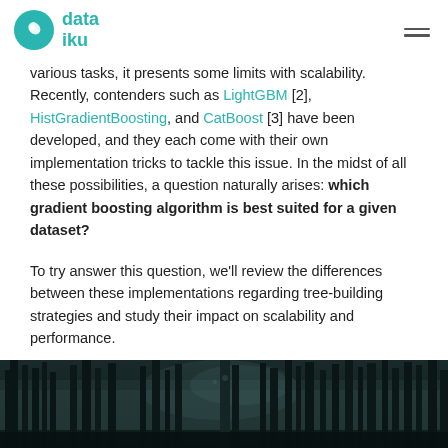dataiku
various tasks, it presents some limits with scalability. Recently, contenders such as LightGBM [2], HistGradientBoosting, and CatBoost [3] have been developed, and they each come with their own implementation tricks to tackle this issue. In the midst of all these possibilities, a question naturally arises: which gradient boosting algorithm is best suited for a given dataset?
To try answer this question, we'll review the differences between these implementations regarding tree-building strategies and study their impact on scalability and performance.
[Figure (photo): Dark forest photo with tall trees and misty atmosphere, teal-tinted]